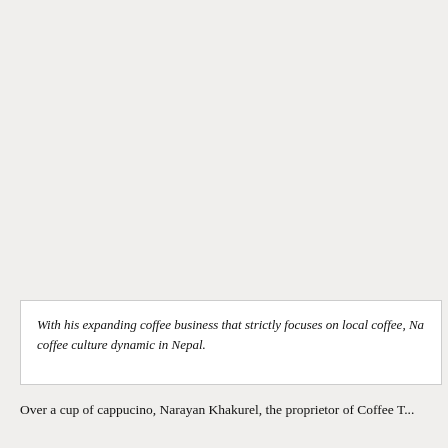With his expanding coffee business that strictly focuses on local coffee, Na coffee culture dynamic in Nepal.
Over a cup of cappucino, Narayan Khakurel, the proprietor of Coffee ...